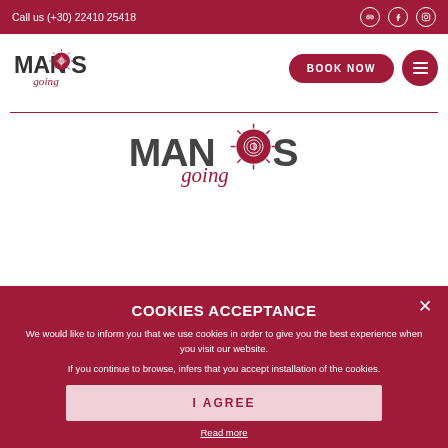Call us (+30) 22410 25418
[Figure (logo): Manos Going travel company logo - small version in navigation bar]
BOOK NOW
[Figure (logo): Manos Going travel company logo - large centered version]
COOKIES ACCEPTANCE
We would like to inform you that we use cookies in order to give you the best experience when you visit our website.
If you continue to browse, infers that you accept installation of the cookies.
I AGREE
Read more